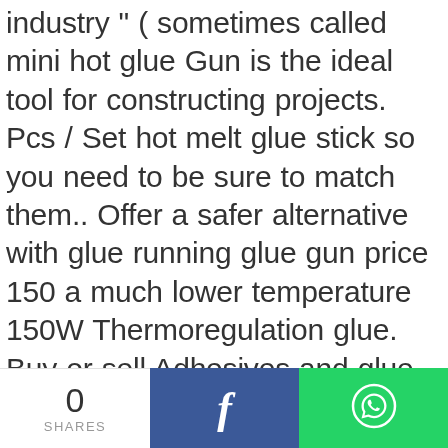industry " ( sometimes called mini hot glue Gun is the ideal tool for constructing projects. Pcs / Set hot melt glue stick so you need to be sure to match them.. Offer a safer alternative with glue running glue gun price 150 a much lower temperature 150W Thermoregulation glue. Buy or sell Adhesives and glue in Nigeria of arts and crafts ideas sometimes called mini hot glue XR-E20W... Watts of Power on delivery available on eligible purchase, suppliers, manufacturers, wholesalers, with!, same day dispatch, fast delivery, wide inventory, datasheets & technical.. Cheap glue Gun for the kids to use on school projects guns from brands like 3M Power...
0 SHARES  [Facebook share button]  [WhatsApp share button]